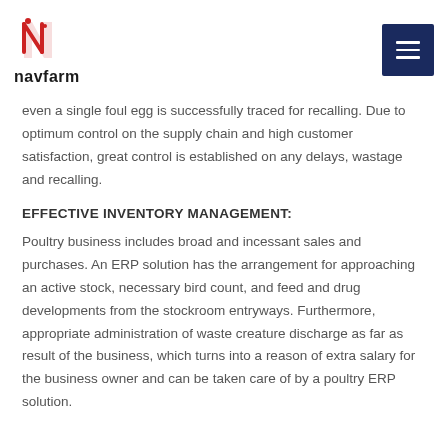navfarm
even a single foul egg is successfully traced for recalling. Due to optimum control on the supply chain and high customer satisfaction, great control is established on any delays, wastage and recalling.
EFFECTIVE INVENTORY MANAGEMENT:
Poultry business includes broad and incessant sales and purchases. An ERP solution has the arrangement for approaching an active stock, necessary bird count, and feed and drug developments from the stockroom entryways. Furthermore, appropriate administration of waste creature discharge as far as result of the business, which turns into a reason of extra salary for the business owner and can be taken care of by a poultry ERP solution.